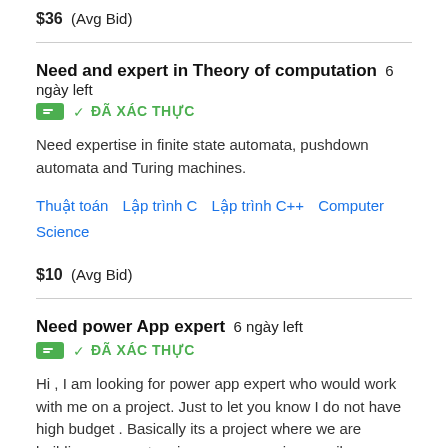$36  (Avg Bid)
Need and expert in Theory of computation  6 ngày left  ĐÃ XÁC THỰC
Need expertise in finite state automata, pushdown automata and Turing machines.
Thuật toán   Lập trình C   Lập trình C++   Computer Science
$10  (Avg Bid)
Need power App expert  6 ngày left  ĐÃ XÁC THỰC
Hi , I am looking for power app expert who would work with me on a project. Just to let you know I do not have high budget . Basically its a project where we are building up a system in power app using email automation as well.